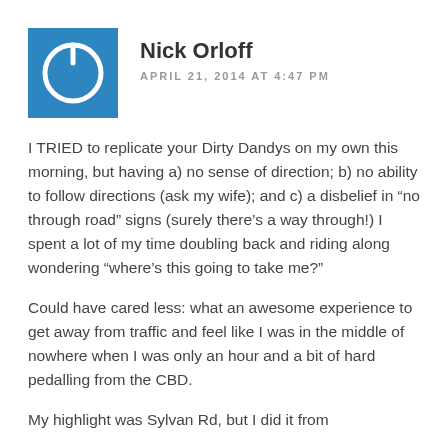[Figure (logo): Blue square avatar with a white power button icon inside]
Nick Orloff
APRIL 21, 2014 AT 4:47 PM
I TRIED to replicate your Dirty Dandys on my own this morning, but having a) no sense of direction; b) no ability to follow directions (ask my wife); and c) a disbelief in “no through road” signs (surely there’s a way through!) I spent a lot of my time doubling back and riding along wondering “where’s this going to take me?”
Could have cared less: what an awesome experience to get away from traffic and feel like I was in the middle of nowhere when I was only an hour and a bit of hard pedalling from the CBD.
My highlight was Sylvan Rd, but I did it from